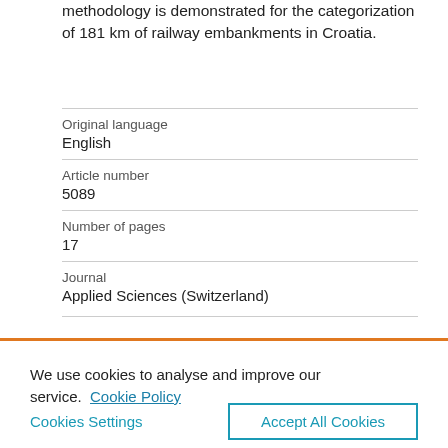methodology is demonstrated for the categorization of 181 km of railway embankments in Croatia.
| Original language | English |
| Article number | 5089 |
| Number of pages | 17 |
| Journal | Applied Sciences (Switzerland) |
We use cookies to analyse and improve our service. Cookie Policy
Cookies Settings
Accept All Cookies